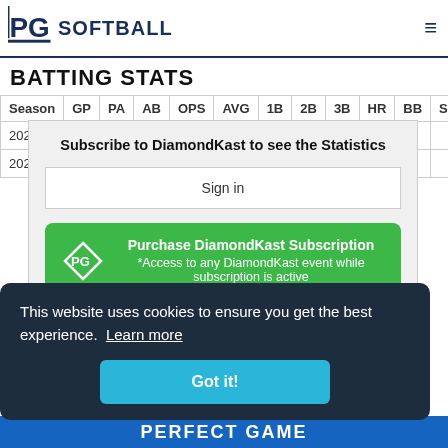PG SOFTBALL
BATTING STATS
| Season | GP | PA | AB | OPS | AVG | 1B | 2B | 3B | HR | BB | S |
| --- | --- | --- | --- | --- | --- | --- | --- | --- | --- | --- | --- |
| 2022 |
| 2021 |
Subscribe to DiamondKast to see the Statistics
Sign in
Purchase DiamondKast Subscription *Access to any DiamondKast event while subscription is active
This website uses cookies to ensure you get the best experience. Learn more
Got it!
PERFECT GAME